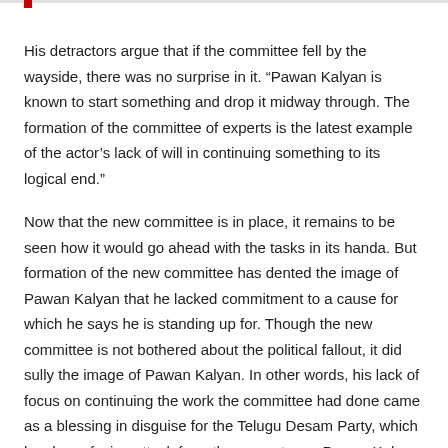His detractors argue that if the committee fell by the wayside, there was no surprise in it. “Pawan Kalyan is known to start something and drop it midway through. The formation of the committee of experts is the latest example of the actor’s lack of will in continuing something to its logical end.”
Now that the new committee is in place, it remains to be seen how it would go ahead with the tasks in its handa. But formation of the new committee has dented the image of Pawan Kalyan that he lacked commitment to a cause for which he says he is standing up for. Though the new committee is not bothered about the political fallout, it did sully the image of Pawan Kalyan. In other words, his lack of focus on continuing the work the committee had done came as a blessing in disguise for the Telugu Desam Party, which has been facing attack from three quarters – Pawan Kalyan, YS Jaganmohan Reddy and the BJP on a day-to-day basis.
With Chief Minister N Chandrababu Naidu shifting gears rapidly to emerge